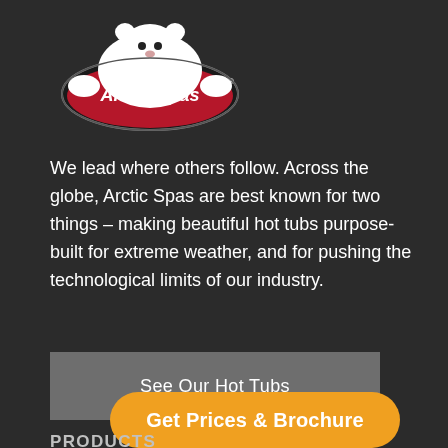[Figure (logo): Arctic Spas logo — white polar bear sitting on a red oval badge with 'Arctic Spas' text in white italic lettering, black border outline]
We lead where others follow. Across the globe, Arctic Spas are best known for two things – making beautiful hot tubs purpose-built for extreme weather, and for pushing the technological limits of our industry.
See Our Hot Tubs
Get Prices & Brochure
PRODUCTS